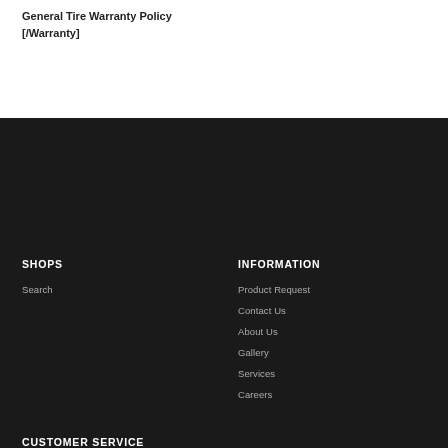General Tire Warranty Policy
[/Warranty]
SHOPS
Search
INFORMATION
Product Request
Contact Us
About Us
Gallery
Services
Careers
CUSTOMER SERVICE
Privacy Policy
Shipping Policy
Returns & Exchanges
Product Warranty